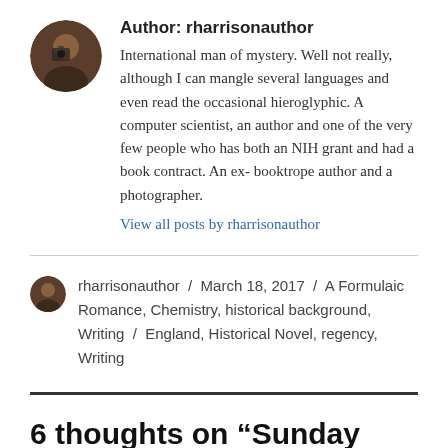[Figure (photo): Circular avatar photo of the author rharrisonauthor holding a camera]
Author: rharrisonauthor
International man of mystery. Well not really, although I can mangle several languages and even read the occasional hieroglyphic. A computer scientist, an author and one of the very few people who has both an NIH grant and had a book contract. An ex- booktrope author and a photographer.
View all posts by rharrisonauthor
[Figure (photo): Small circular avatar photo of rharrisonauthor]
rharrisonauthor / March 18, 2017 / A Formulaic Romance, Chemistry, historical background, Writing / England, Historical Novel, regency, Writing
6 thoughts on “Sunday Snippet, Morning Toilette ”